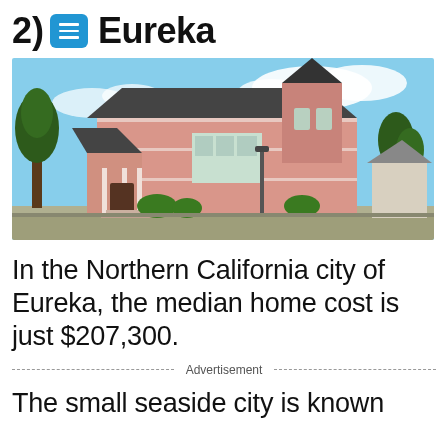2) Eureka
[Figure (photo): A pink Victorian house with a cone-shaped turret and ornate detailing, photographed from the street with trees and blue sky in the background.]
In the Northern California city of Eureka, the median home cost is just $207,300.
Advertisement
The small seaside city is known